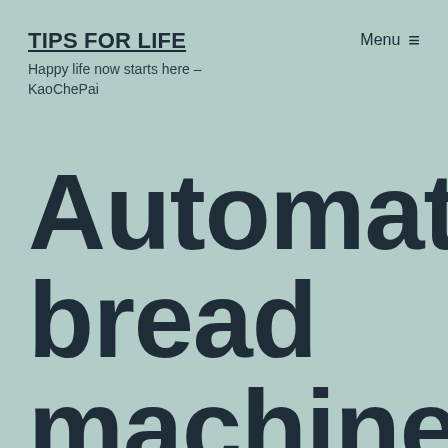TIPS FOR LIFE
Happy life now starts here – KaoChePai
Menu ≡
Automatic bread machine recipe